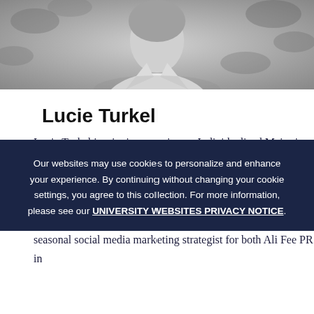[Figure (photo): Black and white portrait photo of Lucie Turkel, a young woman in a light blazer with foliage in the background]
Lucie Turkel
Lucie Turkel is a junior pursuing an Individualized Major in Comparative Literary and Cultural Studies. In addition to working as a Social Media Content Producer, Lucie writes music journalism for the Life section of The Daily Campus and is the social media chair of Pi Beta Phi sorority, and is a seasonal social media marketing strategist for both Ali Fee PR in
Our websites may use cookies to personalize and enhance your experience. By continuing without changing your cookie settings, you agree to this collection. For more information, please see our UNIVERSITY WEBSITES PRIVACY NOTICE.